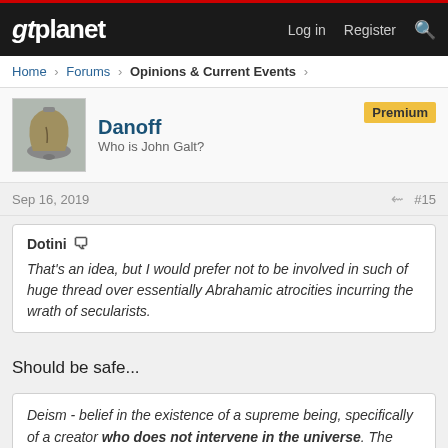gtplanet  Log in  Register
Home > Forums > Opinions & Current Events >
Danoff
Who is John Galt?
Premium
Sep 16, 2019  #15
Dotini
That's an idea, but I would prefer not to be involved in such of huge thread over essentially Abrahamic atrocities incurring the wrath of secularists.
Should be safe...
Deism - belief in the existence of a supreme being, specifically of a creator who does not intervene in the universe. The term is used chiefly of an intellectual movement of the 17th and 18th centuries that accepted the existence of a creator on the basis of reason but rejected belief in a supernatural deity who interacts